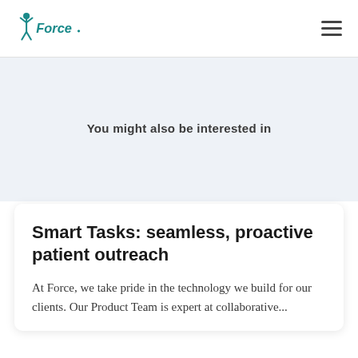[Figure (logo): XForce logo with teal figure and 'Force' text]
You might also be interested in
Smart Tasks: seamless, proactive patient outreach
At Force, we take pride in the technology we build for our clients. Our Product Team is expert at collaborative...